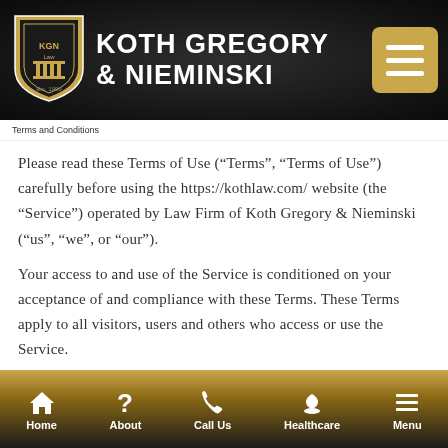KOTH GREGORY & NIEMINSKI
Terms and Conditions
Please read these Terms of Use (“Terms”, “Terms of Use”) carefully before using the https://kothlaw.com/ website (the “Service”) operated by Law Firm of Koth Gregory & Nieminski  (“us”, “we”, or “our”).
Your access to and use of the Service is conditioned on your acceptance of and compliance with these Terms. These Terms apply to all visitors, users and others who access or use the Service.
Home  About  Call Us  Healthcare  Menu